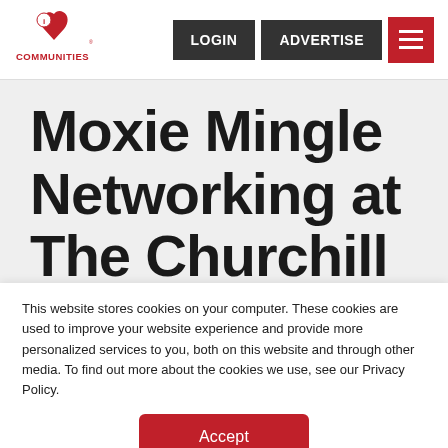[Figure (logo): iCommunities logo: red heart with white circle and 'i' letter, text COMMUNITIES in red below]
LOGIN   ADVERTISE   [menu]
Moxie Mingle Networking at The Churchill
This website stores cookies on your computer. These cookies are used to improve your website experience and provide more personalized services to you, both on this website and through other media. To find out more about the cookies we use, see our Privacy Policy.
Accept